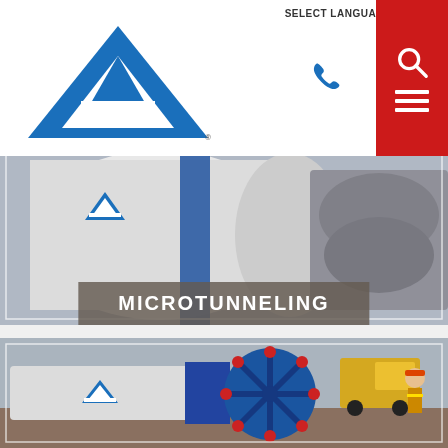SELECT LANGUAGE
[Figure (logo): Akkerman company logo — blue triangle/A shape with AKKERMAN text and registered trademark symbol]
[Figure (photo): Microtunneling machine — large white cylindrical boring machine with blue components, shown on a job site]
MICROTUNNELING
[Figure (photo): Microtunneling boring machine head close-up — white pipe with blue cutting wheel/disc showing red cutting teeth, yellow truck and worker in hard hat visible in background]